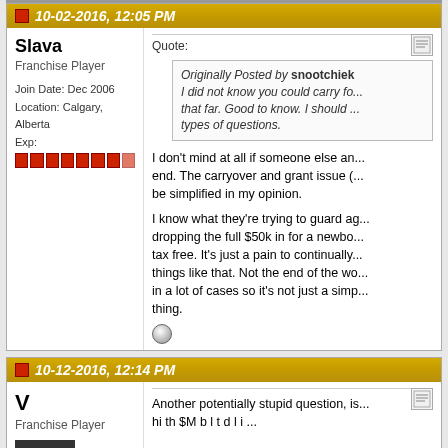10-02-2016, 12:05 PM
Slava
Franchise Player
Join Date: Dec 2006
Location: Calgary, Alberta
Exp: [8 red squares]
Originally Posted by snootchie... I did not know you could carry fo... that far. Good to know. I should ... types of questions.
I don't mind at all if someone else an... end. The carryover and grant issue (... be simplified in my opinion.

I know what they're trying to guard ag... dropping the full $50k in for a newbo... tax free. It's just a pain to continually... things like that. Not the end of the wo... in a lot of cases so it's not just a simp... thing.
10-12-2016, 12:14 PM
V
Franchise Player
Another potentially stupid question, is... hi th $M b l t d l i ...